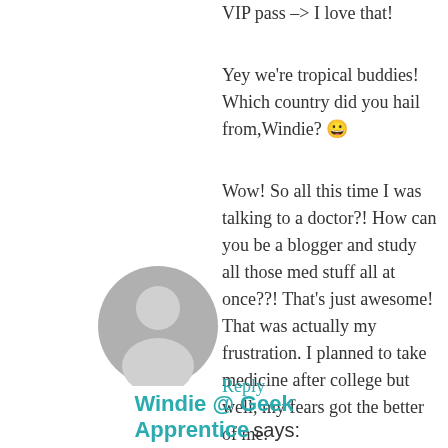VIP pass –> I love that!
Yey we're tropical buddies! Which country did you hail from,Windie? 😀
Wow! So all this time I was talking to a doctor?! How can you be a blogger and study all those med stuff all at once??! That's just awesome! That was actually my frustration. I planned to take medicine after college but well, my fears got the better of me.
Reply
[Figure (illustration): Generic user avatar silhouette in grey]
Windie @ Geek Apprentice says: